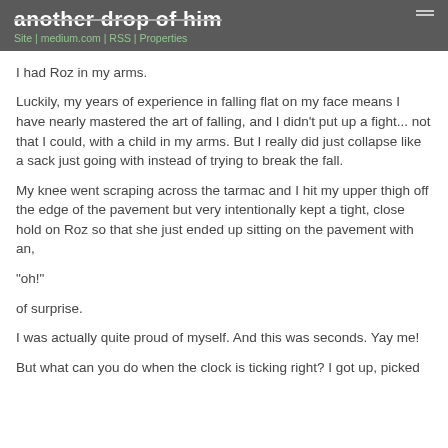another drop of him
Site | medium.com | RSS | Properties
I had Roz in my arms.
Luckily, my years of experience in falling flat on my face means I have nearly mastered the art of falling, and I didn't put up a fight... not that I could, with a child in my arms. But I really did just collapse like a sack just going with instead of trying to break the fall.
My knee went scraping across the tarmac and I hit my upper thigh off the edge of the pavement but very intentionally kept a tight, close hold on Roz so that she just ended up sitting on the pavement with an,
“oh!”
of surprise.
I was actually quite proud of myself. And this was seconds. Yay me!
But what can you do when the clock is ticking right? I got up, picked